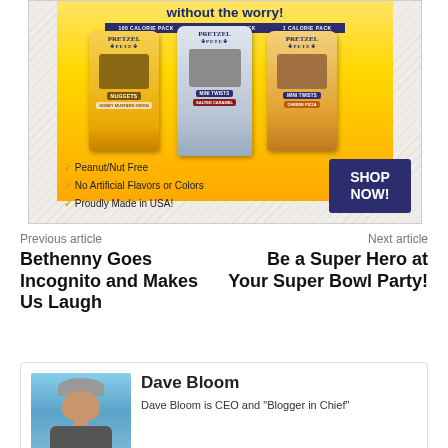[Figure (photo): Pretzel Pete advertisement showing three bags of pretzels (Nuggets, Mini Twists Salted Caramel, Mini Twists Cheese Pizza) with 100 Calorie Pack labels on a yellow background. Text reads: without the worry! Peanut/Nut Free, No Artificial Flavors or Colors, Proudly Made in USA! with a SHOP NOW button.]
Previous article
Next article
Bethenny Goes Incognito and Makes Us Laugh
Be a Super Hero at Your Super Bowl Party!
Dave Bloom
Dave Bloom is CEO and "Blogger in Chief"